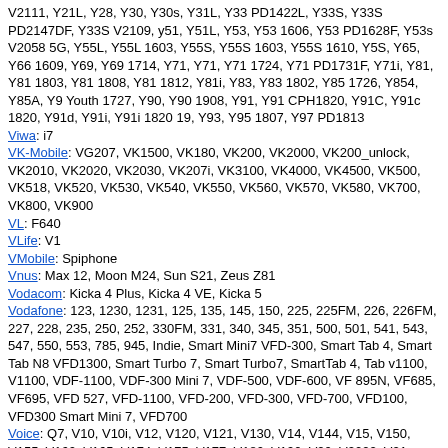V2111, Y21L, Y28, Y30, Y30s, Y31L, Y33 PD1422L, Y33S, Y33S PD2147DF, Y33S V2109, y51, Y51L, Y53, Y53 1606, Y53 PD1628F, Y53s V2058 5G, Y55L, Y55L 1603, Y55S, Y55S 1603, Y55S 1610, Y5S, Y65, Y66 1609, Y69, Y69 1714, Y71, Y71, Y71 1724, Y71 PD1731F, Y71i, Y81, Y81 1803, Y81 1808, Y81 1812, Y81i, Y83, Y83 1802, Y85 1726, Y854, Y85A, Y9 Youth 1727, Y90, Y90 1908, Y91, Y91 CPH1820, Y91C, Y91c 1820, Y91d, Y91i, Y91i 1820 19, Y93, Y95 1807, Y97 PD1813
Viwa: i7
VK-Mobile: VG207, VK1500, VK180, VK200, VK2000, VK200_unlock, VK2010, VK2020, VK2030, VK207i, VK3100, VK4000, VK4500, VK500, VK518, VK520, VK530, VK540, VK550, VK560, VK570, VK580, VK700, VK800, VK900
VL: F640
VLife: V1
VMobile: Spiphone
Vnus: Max 12, Moon M24, Sun S21, Zeus Z81
Vodacom: Kicka 4 Plus, Kicka 4 VE, Kicka 5
Vodafone: 123, 1230, 1231, 125, 135, 145, 150, 225, 225FM, 226, 226FM, 227, 228, 235, 250, 252, 330FM, 331, 340, 345, 351, 500, 501, 541, 543, 547, 550, 553, 785, 945, Indie, Smart Mini7 VFD-300, Smart Tab 4, Smart Tab N8 VFD1300, Smart Turbo 7, Smart Turbo7, SmartTab 4, Tab v1100, V1100, VDF-1100, VDF-300 Mini 7, VDF-500, VDF-600, VF 895N, VF685, VF695, VFD 527, VFD-1100, VFD-200, VFD-300, VFD-700, VFD100, VFD300 Smart Mini 7, VFD700
Voice: Q7, V10, V10i, V12, V120, V121, V130, V14, V144, V15, V150, V155, V160, V165, V174, V175, V177, V180, V190, V20, V2022, V21, V22, V30, V40, V41, V440, V540, V550, V555, V666, V70, V750, V777, V80, V888, V9, V950, V970, XTreme V14, XTreme V15, XTreme V25, XTreme V60, XTreme X3
Voice-Mobile: V31, V45, V51
Vonino: Epic E8
Voto: V9